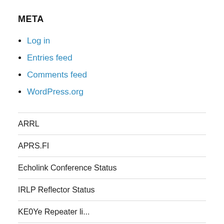META
Log in
Entries feed
Comments feed
WordPress.org
ARRL
APRS.FI
Echolink Conference Status
IRLP Reflector Status
KE0Ye Repeater li…